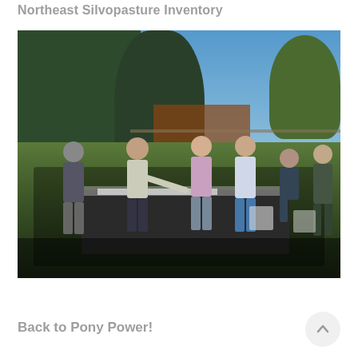Northeast Silvopasture Inventory
[Figure (photo): Outdoor group meeting scene: a person in a light gray sweater is pointing at documents on a black-draped table, while five other people stand or sit around it looking on. Large trees are visible in the background along with a barn/building and green grass, under a clear blue sky.]
Back to Pony Power!